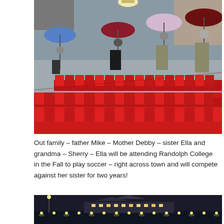[Figure (photo): Several people standing in rows of red stadium seats holding umbrellas in the rain at a soccer stadium. People wearing masks and rain gear.]
Out family – father Mike – Mother Debby – sister Ella and grandma – Sherry – Ella will be attending Randolph College in the Fall to play soccer – right across town and will compete against her sister for two years!
[Figure (photo): Nighttime photo of a building complex with lights, appears to be a sports facility or campus building lit up at night.]